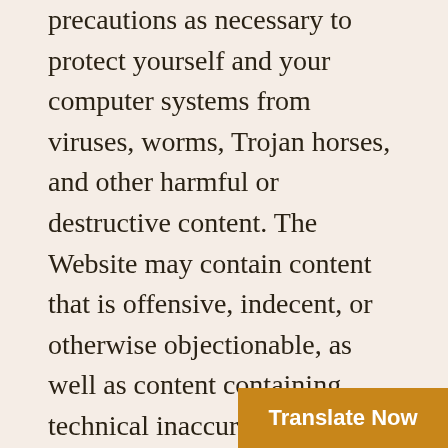precautions as necessary to protect yourself and your computer systems from viruses, worms, Trojan horses, and other harmful or destructive content. The Website may contain content that is offensive, indecent, or otherwise objectionable, as well as content containing technical inaccuracies, typographical mistakes, and other errors. The Website may also contain material that violates the privacy or publicity rights, or infringes the intellectual property and other proprietary rights, of third parties, or the downloading, copying or use of which is subject to additional terms and conditions, stated or unstated. Cherg disclaims any responsibility for any harm resulting from the use b Website, or from any do
[Figure (other): Orange 'Translate Now' button overlay in bottom-right corner]